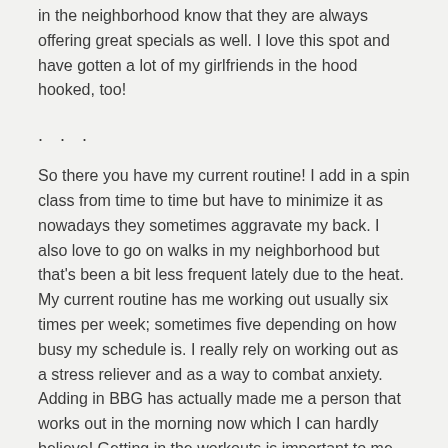in the neighborhood know that they are always offering great specials as well. I love this spot and have gotten a lot of my girlfriends in the hood hooked, too!
. . .
So there you have my current routine! I add in a spin class from time to time but have to minimize it as nowadays they sometimes aggravate my back. I also love to go on walks in my neighborhood but that’s been a bit less frequent lately due to the heat.
My current routine has me working out usually six times per week; sometimes five depending on how busy my schedule is. I really rely on working out as a stress reliever and as a way to combat anxiety. Adding in BBG has actually made me a person that works out in the morning now which I can hardly believe! Getting in the workouts is important to me so I ensure I allow time to do so and sometimes that means getting up extra early to fit them in. The commitment is so important! The other most important thing I’ve found is taking time to do recovery with